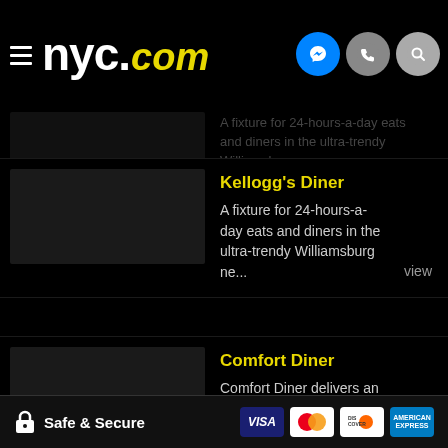[Figure (screenshot): NYC.com website header with hamburger menu, nyc.com logo in white and yellow, messenger, phone, and search icons on black background]
A male paradise of burgers and cheesesteaks with a 24-hour schedule.
Kellogg's Diner
A fixture for 24-hours-a-day eats and diners in the ultra-trendy Williamsburg ne...
view
Comfort Diner
Comfort Diner delivers an one-two punch of casual, nostalgic decor and snooze-in...
view
Daisey's Diner
Round-the-clock diner food in the western fringes of Park Slo...
view
Safe & Secure